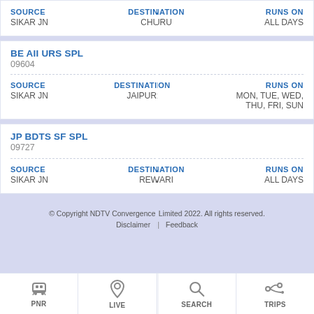| SOURCE | DESTINATION | RUNS ON |
| --- | --- | --- |
| SIKAR JN | CHURU | ALL DAYS |
BE AII URS SPL
09604
| SOURCE | DESTINATION | RUNS ON |
| --- | --- | --- |
| SIKAR JN | JAIPUR | MON, TUE, WED, THU, FRI, SUN |
JP BDTS SF SPL
09727
| SOURCE | DESTINATION | RUNS ON |
| --- | --- | --- |
| SIKAR JN | REWARI | ALL DAYS |
© Copyright NDTV Convergence Limited 2022. All rights reserved.
Disclaimer | Feedback
[Figure (infographic): Bottom navigation bar with four icons: PNR (train icon), LIVE (location pin icon), SEARCH (magnifying glass icon), TRIPS (route/travel icon)]